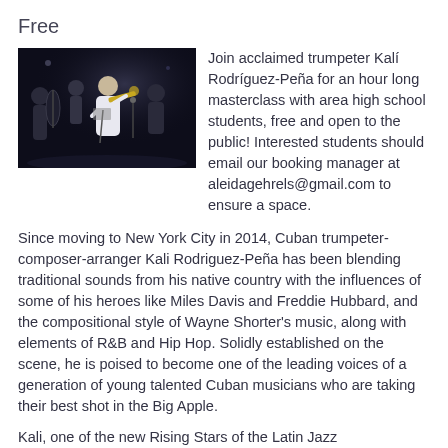Free
[Figure (photo): Musicians performing on stage, including a trumpeter in a white suit, a bassist, and other band members in a dark concert setting.]
Join acclaimed trumpeter Kalí Rodríguez-Peña for an hour long masterclass with area high school students, free and open to the public! Interested students should email our booking manager at aleidagehrels@gmail.com to ensure a space.
Since moving to New York City in 2014, Cuban trumpeter-composer-arranger Kali Rodriguez-Peña has been blending traditional sounds from his native country with the influences of some of his heroes like Miles Davis and Freddie Hubbard, and the compositional style of Wayne Shorter's music, along with elements of R&B and Hip Hop. Solidly established on the scene, he is poised to become one of the leading voices of a generation of young talented Cuban musicians who are taking their best shot in the Big Apple.
Kali, one of the new Rising Stars of the Latin Jazz